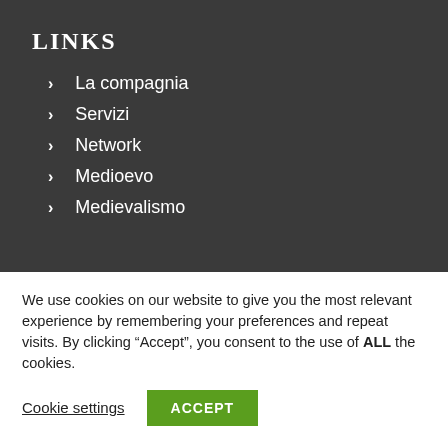LINKS
La compagnia
Servizi
Network
Medioevo
Medievalismo
We use cookies on our website to give you the most relevant experience by remembering your preferences and repeat visits. By clicking “Accept”, you consent to the use of ALL the cookies.
Cookie settings
ACCEPT